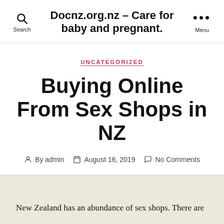Docnz.org.nz – Care for baby and pregnant.
UNCATEGORIZED
Buying Online From Sex Shops in NZ
By admin  August 16, 2019  No Comments
New Zealand has an abundance of sex shops. There are